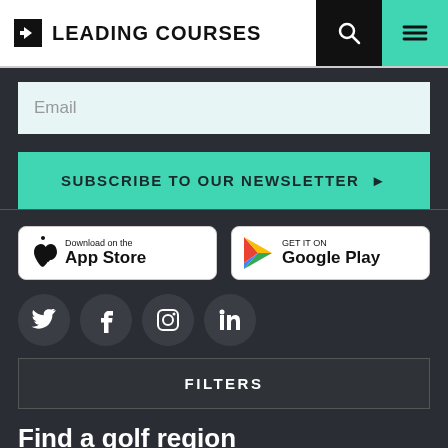LEADING COURSES
Email
SUBSCRIBE TO OUR NEWSLETTER ❯
[Figure (screenshot): App Store download badge]
[Figure (screenshot): Google Play download badge]
[Figure (infographic): Social media icons: Twitter, Facebook, Instagram, LinkedIn]
FILTERS
Find a golf region